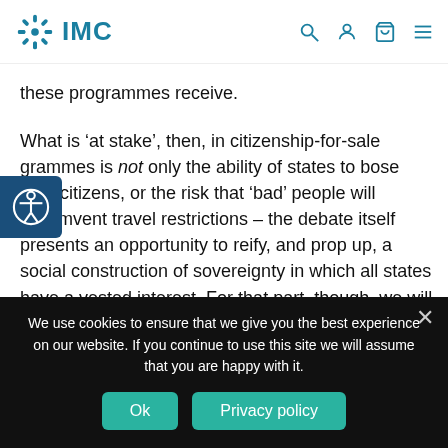IMC
these programmes receive.
What is ‘at stake’, then, in citizenship-for-sale grammes is not only the ability of states to bose their citizens, or the risk that ‘bad’ people will circumvent travel restrictions – the debate itself presents an opportunity to reify, and prop up, a social construction of sovereignty in which all states have a vested interest. For that part, though, we will need to look beyond the Guardian’s coverage.
We use cookies to ensure that we give you the best experience on our website. If you continue to use this site we will assume that you are happy with it.